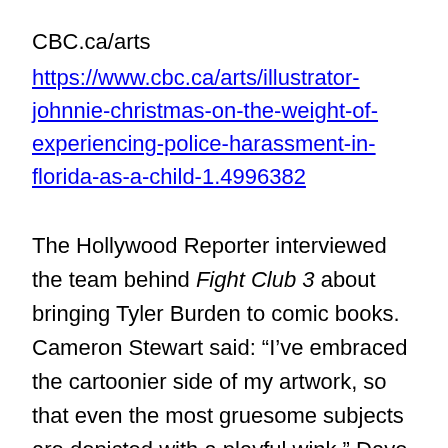CBC.ca/arts
https://www.cbc.ca/arts/illustrator-johnnie-christmas-on-the-weight-of-experiencing-police-harassment-in-florida-as-a-child-1.4996382
The Hollywood Reporter interviewed the team behind Fight Club 3 about bringing Tyler Burden to comic books. Cameron Stewart said: “I’ve embraced the cartoonier side of my artwork, so that even the most gruesome subjects are depicted with a playful wink.” Dave McCaig said: “When these diverse